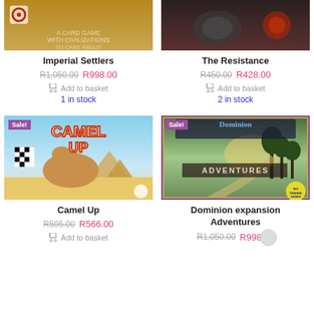[Figure (photo): Imperial Settlers board game box cover (partially cropped at top)]
Imperial Settlers
R1,050.00  R998.00
Add to basket
1 in stock
[Figure (photo): The Resistance board game box cover (partially cropped at top, dark tones)]
The Resistance
R450.00  R428.00
Add to basket
2 in stock
[Figure (photo): Camel Up board game box cover with Sale! badge, camels racing in desert with pyramids]
Camel Up
R595.00  R566.00
Add to basket
[Figure (photo): Dominion expansion Adventures board game box cover with Sale! badge, Rio Grande Games logo]
Dominion expansion Adventures
R1,050.00  R998.00